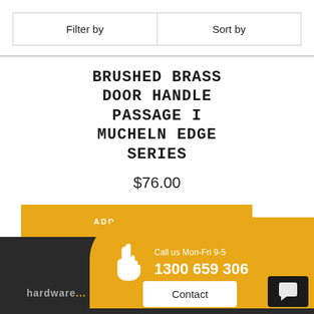Filter by | Sort by
BRUSHED BRASS DOOR HANDLE PASSAGE I MUCHELN EDGE SERIES
$76.00
ADD TO BASKET
Call us Mon-Fri 9-5  1300 659 306  hardware...  Contact